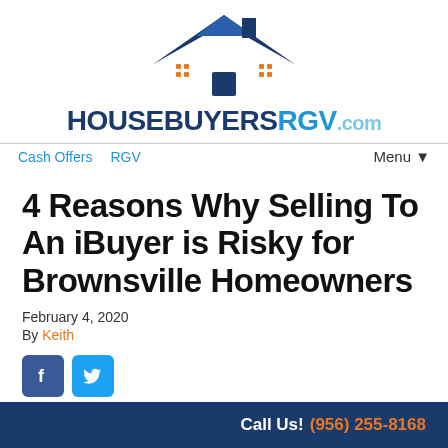[Figure (logo): HouseBuyersRGV.com logo with house icon and stylized text]
Cash Offers   RGV   Menu▼
4 Reasons Why Selling To An iBuyer is Risky for Brownsville Homeowners
February 4, 2020
By Keith
[Figure (illustration): Facebook and Twitter social share icon buttons]
Call Us! (956) 255-8168